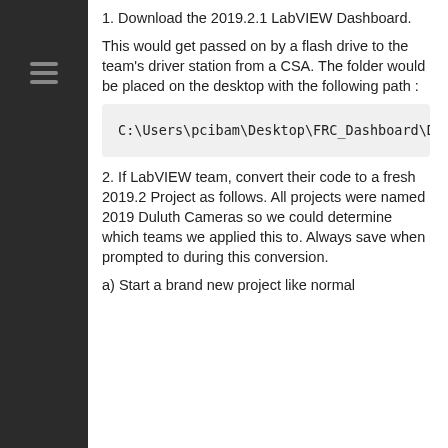1. Download the 2019.2.1 LabVIEW Dashboard.
This would get passed on by a flash drive to the team's driver station from a CSA. The folder would be placed on the desktop with the following path :
C:\Users\pcibam\Desktop\FRC_Dashboard\Dashboa
2. If LabVIEW team, convert their code to a fresh 2019.2 Project as follows. All projects were named 2019 Duluth Cameras so we could determine which teams we applied this to. Always save when prompted to during this conversion.
a) Start a brand new project like normal